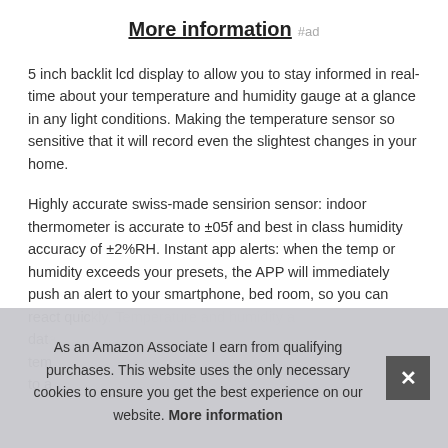More information #ad
5 inch backlit lcd display to allow you to stay informed in real-time about your temperature and humidity gauge at a glance in any light conditions. Making the temperature sensor so sensitive that it will record even the slightest changes in your home.
Highly accurate swiss-made sensirion sensor: indoor thermometer is accurate to ±05f and best in class humidity accuracy of ±2%RH. Instant app alerts: when the temp or humidity exceeds your presets, the APP will immediately push an alert to your smartphone, bed room, so you can react quickly. Temperature and humidity are stored and data... tem... to a...
As an Amazon Associate I earn from qualifying purchases. This website uses the only necessary cookies to ensure you get the best experience on our website. More information